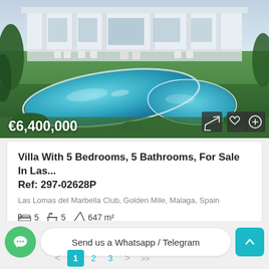[Figure (photo): Luxury villa with swimming pool surrounded by green lawn, white modern architecture with columns, aerial/wide view]
€6,400,000
Villa With 5 Bedrooms, 5 Bathrooms, For Sale In Las...
Ref: 297-02628P
Las Lomas del Marbella Club, Golden Mile, Malaga, Spain
🛏 5  🛁 5  📐 647 m²
VILLA
Send us a Whatsapp / Telegram
< 1 2 3 > >>